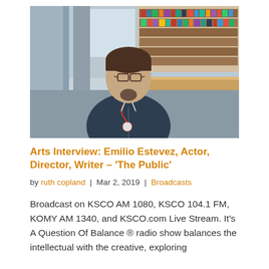[Figure (photo): A middle-aged man with glasses and a goatee, wearing a dark blue zip-up jacket over a plaid shirt with a red lanyard badge, standing in what appears to be a library with bookshelves visible in the background.]
Arts Interview: Emilio Estevez, Actor, Director, Writer – 'The Public'
by ruth copland | Mar 2, 2019 | Broadcasts
Broadcast on KSCO AM 1080, KSCO 104.1 FM, KOMY AM 1340, and KSCO.com Live Stream. It's A Question Of Balance ® radio show balances the intellectual with the creative, exploring